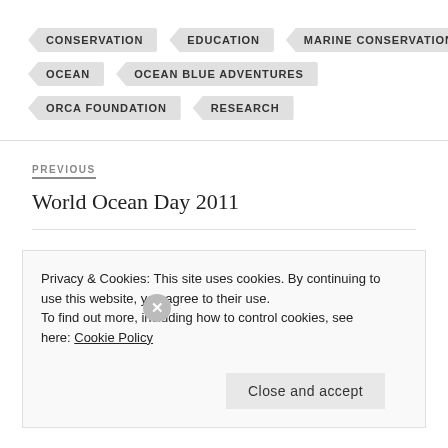CONSERVATION
EDUCATION
MARINE CONSERVATION
OCEAN
OCEAN BLUE ADVENTURES
ORCA FOUNDATION
RESEARCH
PREVIOUS
World Ocean Day 2011
NEXT
Privacy & Cookies: This site uses cookies. By continuing to use this website, you agree to their use.
To find out more, including how to control cookies, see here: Cookie Policy
Close and accept